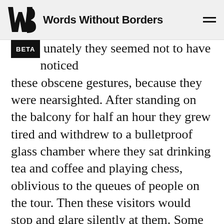Words Without Borders
unately they seemed not to have noticed these obscene gestures, because they were nearsighted. After standing on the balcony for half an hour they grew tired and withdrew to a bulletproof glass chamber where they sat drinking tea and coffee and playing chess, oblivious to the queues of people on the tour. Then these visitors would stop and glare silently at them. Some fathers carrying children on their shoulders would pause and point at the reincarnated generals, exclaiming, “Look! Those men were evil tators! They killed millions.” To the children, however, they looked like mild-